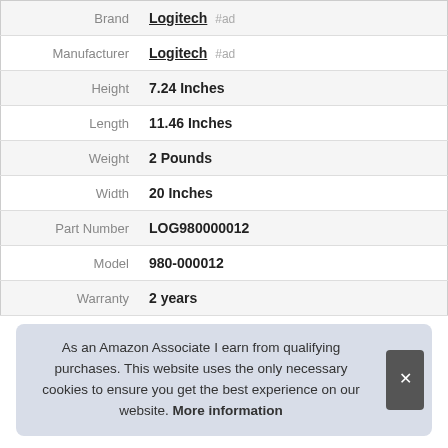| Attribute | Value |
| --- | --- |
| Brand | Logitech #ad |
| Manufacturer | Logitech #ad |
| Height | 7.24 Inches |
| Length | 11.46 Inches |
| Weight | 2 Pounds |
| Width | 20 Inches |
| Part Number | LOG980000012 |
| Model | 980-000012 |
| Warranty | 2 years |
As an Amazon Associate I earn from qualifying purchases. This website uses the only necessary cookies to ensure you get the best experience on our website. More information